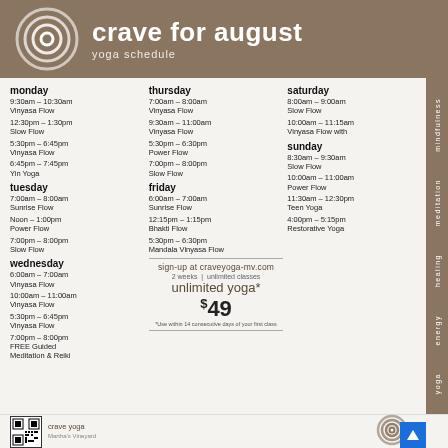crave for august
yoga schedule
monday
9:30am – 10:30am
Vinyasa Flow
12:30pm – 1:30pm
Slow Flow
5:30pm – 6:45pm
Vinyasa Flow
6:45pm – 7:45pm
Yin Yoga
tuesday
7:00am – 8:00am
Sunrise Flow
Noon – 1:00pm
Power Flow
7:00pm – 8:00pm
Slow Flow
wednesday
6:00am – 7:00am
Vinyasa Flow
10:00am – 11:00am
Vinyasa Flow
5:30pm – 6:45pm
Vinyasa Flow
7:00pm – 8:00pm
FREE Guided Meditation & Reiki
thursday
7:00am – 8:00am
Vinyasa Flow
9:30am – 11:00am
Vinyasa Flow
5:30pm – 6:30pm
Power Flow
7:00pm – 8:00pm
Slow Flow
friday
6:00am – 7:00am
Sunrise Flow
12:15pm – 1:15pm
Bhakti Flow
5:30pm – 6:30pm
Mandala Vinyasa Flow
sign-up at craveyoga-mv.com
2 weeks  |  unlimited classes
unlimited yoga*
$49
*Use within 14 consecutive days of your first class
saturday
8:00am – 9:00am
Slow Flow
10:00am – 11:15am
Vinyasa Flow with
sunday
8:30am – 9:30am
Slow Flow
10:00am – 11:00am
Power Flow
11:30am – 12:30pm
Teen Yoga
4:00pm – 5:15pm
Restorative Yoga
crave yoga